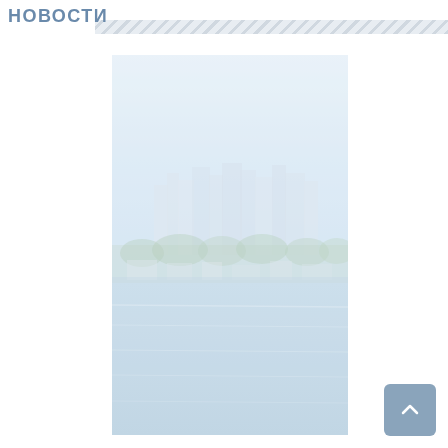Новости
[Figure (photo): Faded/hazy cityscape with skyscrapers, waterfront, trees, and calm blue water in foreground. Light blue sky with haze.]
[Figure (other): Back-to-top button with upward-pointing chevron arrow, gray-blue rounded square.]